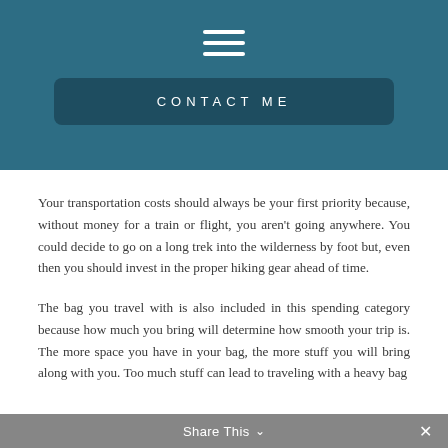[Figure (other): Hamburger menu icon (three horizontal white lines) centered in teal/dark blue header bar]
CONTACT ME
Your transportation costs should always be your first priority because, without money for a train or flight, you aren't going anywhere. You could decide to go on a long trek into the wilderness by foot but, even then you should invest in the proper hiking gear ahead of time.
The bag you travel with is also included in this spending category because how much you bring will determine how smooth your trip is. The more space you have in your bag, the more stuff you will bring along with you. Too much stuff can lead to traveling with a heavy bag
Share This ∨  ✕